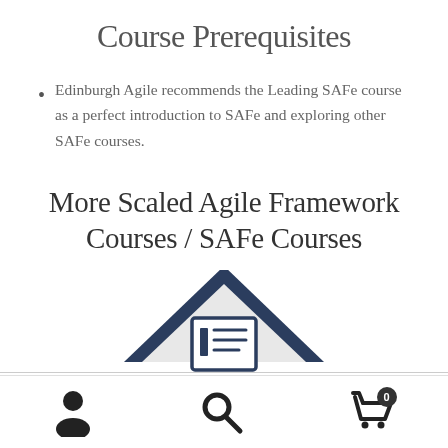Course Prerequisites
Edinburgh Agile recommends the Leading SAFe course as a perfect introduction to SAFe and exploring other SAFe courses.
More Scaled Agile Framework Courses / SAFe Courses
[Figure (illustration): A house/building icon made of nested triangles (dark navy outline forming a roof shape) with a document/book icon in a square frame centered inside, representing SAFe courses.]
[Figure (illustration): Mobile app footer navigation bar with three icons: a user/person icon on the left, a search/magnifying glass icon in the center, and a shopping cart icon with a badge showing '0' on the right.]